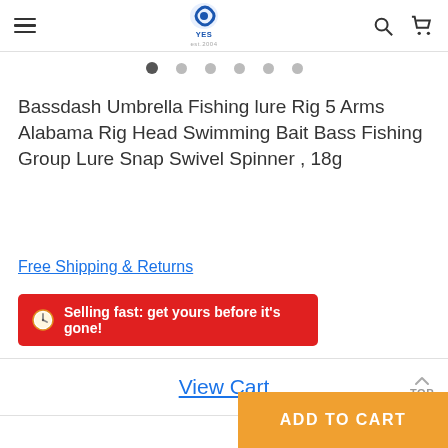YES store header with hamburger menu, logo, search and cart icons
Bassdash Umbrella Fishing lure Rig 5 Arms Alabama Rig Head Swimming Bait Bass Fishing Group Lure Snap Swivel Spinner , 18g
Free Shipping & Returns
Selling fast: get yours before it's gone!
View Cart
ADD TO CART